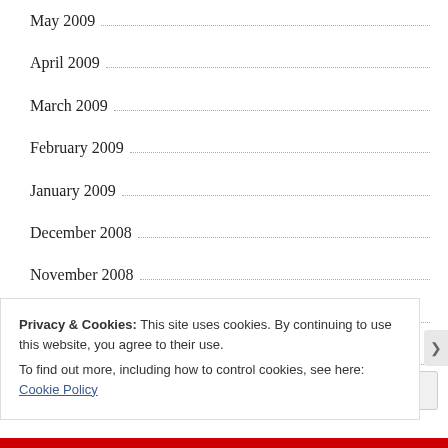May 2009
April 2009
March 2009
February 2009
January 2009
December 2008
November 2008
October 2008
September 2008
August 2008
Privacy & Cookies: This site uses cookies. By continuing to use this website, you agree to their use.
To find out more, including how to control cookies, see here: Cookie Policy
Close and accept